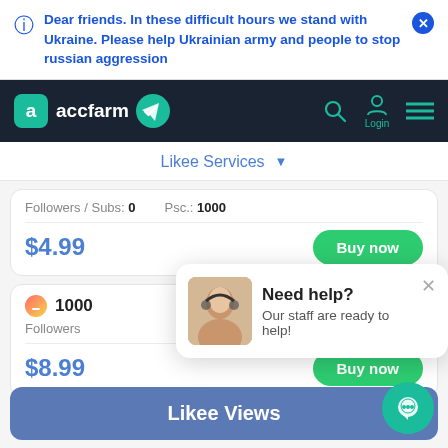Dear friends. In these difficult hours we stand with Ukraine. Please help Ukrainian army and people to stop russian aggression
[Figure (screenshot): accfarm website navigation bar with logo, telegram icon, search, login, and menu icons on dark background]
Likee Services ▼
| Followers / Subs: 0 | Psc.: 1000 |
| $4.99 | Buy now |
| 1000 |  |
| Followers |  |
| $8.99 | Buy now |
[Figure (screenshot): Chat popup: Need help? Our staff are ready to help! with support agent photo]
Likee Views